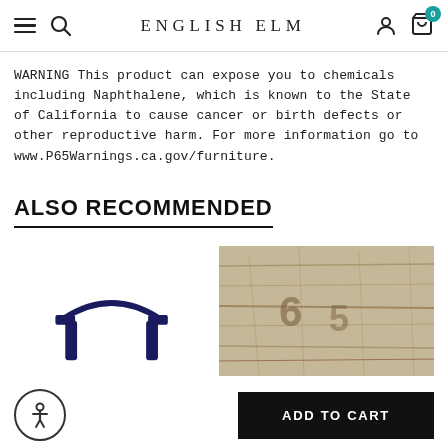ENGLISH ELM
WARNING This product can expose you to chemicals including Naphthalene, which is known to the State of California to cause cancer or birth defects or other reproductive harm. For more information go to www.P65Warnings.ca.gov/furniture.
ALSO RECOMMENDED
[Figure (illustration): Dark navy blue outline of a furniture piece (chair or table silhouette) on white background]
[Figure (photo): Close-up of a weathered or distressed wooden surface with carved/etched markings]